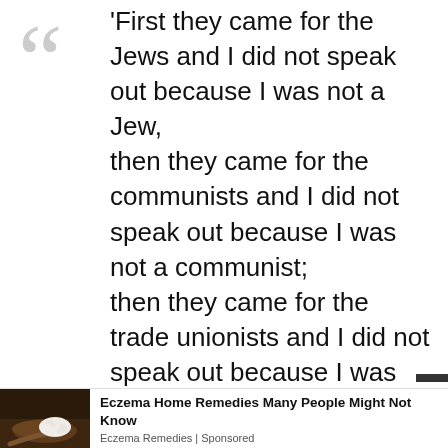'First they came for the Jews and I did not speak out because I was not a Jew, then they came for the communists and I did not speak out because I was not a communist; then they came for the trade unionists and I did not speak out because I was not a trade unionist; then they came for me and there was no one left to speak out for me.'
[Figure (photo): Food item (white cheese curds on a wooden spoon) against a dark rustic background, part of an advertisement]
Eczema Home Remedies Many People Might Not Know
Eczema Remedies | Sponsored